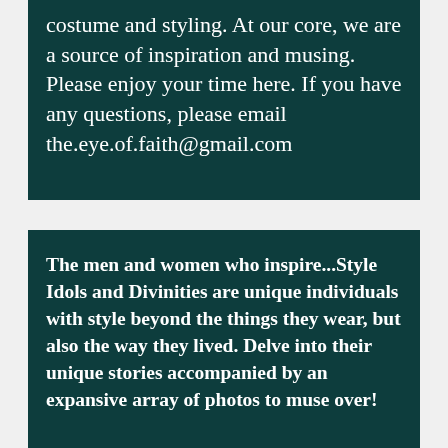costume and styling. At our core, we are a source of inspiration and musing. Please enjoy your time here. If you have any questions, please email the.eye.of.faith@gmail.com
The men and women who inspire...Style Idols and Divinities are unique individuals with style beyond the things they wear, but also the way they lived. Delve into their unique stories accompanied by an expansive array of photos to muse over!